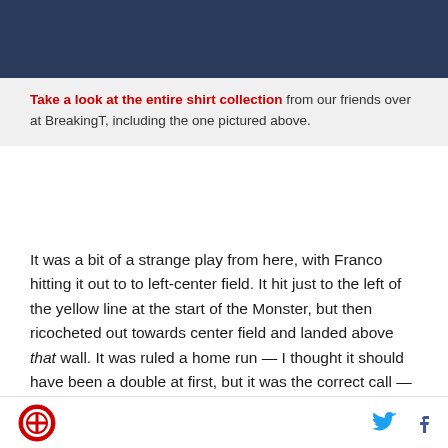[Figure (photo): Dark navy blue fabric/shirt image cropped at top of page]
Take a look at the entire shirt collection from our friends over at BreakingT, including the one pictured above.
It was a bit of a strange play from here, with Franco hitting it out to to left-center field. It hit just to the left of the yellow line at the start of the Monster, but then ricocheted out towards center field and landed above that wall. It was ruled a home run — I thought it should have been a double at first, but it was the correct call — and Tampa had a 3-1 lead. Houck then gave up a double to Nelson Cruz before his day ended. He was great for five, but that sixth was just pushing him a bit